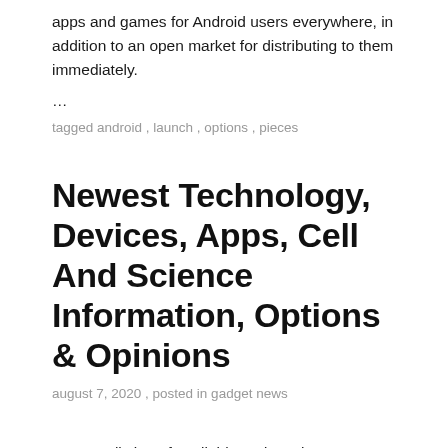apps and games for Android users everywhere, in addition to an open market for distributing to them immediately.
…
tagged android , launch , options , pieces
Newest Technology, Devices, Apps, Cell And Science Information, Options & Opinions
august 7, 2020 , posted in gadget news
To see a listing of available gadgets in your Confluence website go to Help Accessible Gadgets. مقر ها في سايل